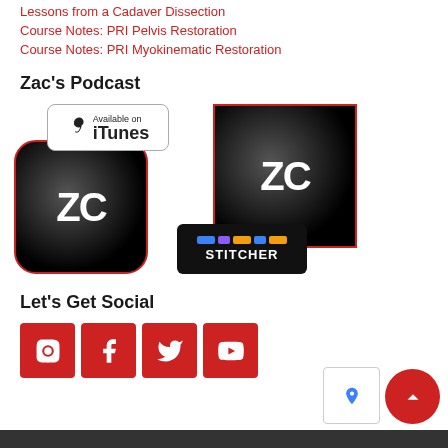Lessons from a Cadaver Dissection
Course Notes: PRI Pelvis Restoration
Course Notes: PRI Myokinematic Restoration
Zac's Podcast
[Figure (screenshot): Two podcast badges side by side: an iTunes 'Available on iTunes' badge overlaying a ZC (Zac's podcast) app icon with red border, and a Stitcher badge overlaying another ZC icon with red border.]
Let's Get Social
[Figure (infographic): Four red square social media buttons: Instagram, Facebook, Twitter, YouTube icons in white.]